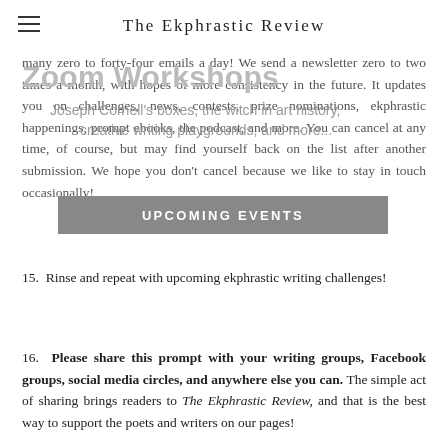The Ekphrastic Review
many zero to forty-four emails a day! We send a newsletter zero to two times a month, with hopes of more consistency in the future. It updates you on challenges, news, contests, prize nominations, ekphrastic happenings, prompt ebooks, the podcast, and more. You can cancel at any time, of course, but may find yourself back on the list after another submission. We hope you don't cancel because we like to stay in touch occasionally!
[Figure (other): Zoom Workshops promotional overlay with text 'Zoom Workshops', 'Joseph Cornell's boxes, the witch in art history, creative writing playgrounds, and more...' and 'UPCOMING EVENTS' banner]
15.  Rinse and repeat with upcoming ekphrastic writing challenges!
16.  Please share this prompt with your writing groups, Facebook groups, social media circles, and anywhere else you can. The simple act of sharing brings readers to The Ekphrastic Review, and that is the best way to support the poets and writers on our pages!